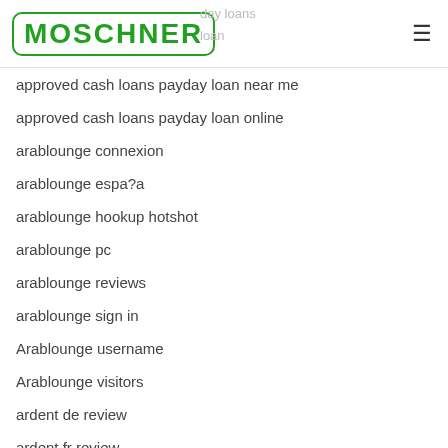MOSCHNER
approved cash loans payday loan near me
approved cash loans payday loan online
arablounge connexion
arablounge espa?a
arablounge hookup hotshot
arablounge pc
arablounge reviews
arablounge sign in
Arablounge username
Arablounge visitors
ardent de review
ardent fr review